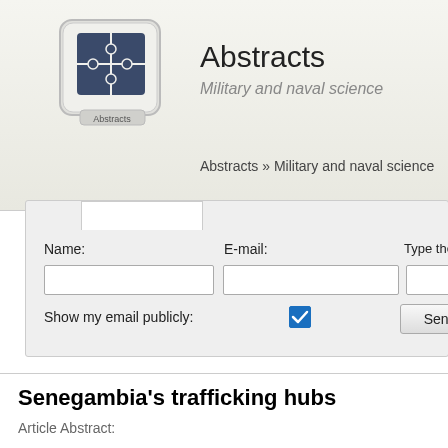[Figure (logo): Abstracts logo — puzzle pieces icon on a keyboard key with 'Abstracts' text below]
Abstracts
Military and naval science
Abstracts » Military and naval science
Name:
E-mail:
Type the code sho
Show my email publicly:
Send
Senegambia's trafficking hubs
Article Abstract:
A network of trafficking hubs has emerged along the coast of West A… supply routes of Africa, Europe and South America converge. Legall…